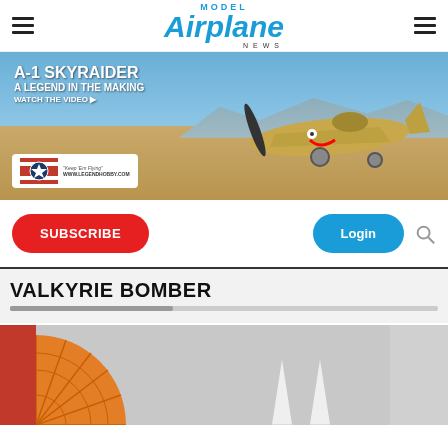MODEL Airplane NEWS
[Figure (photo): A-1 Skyraider model airplane advertisement banner. Text reads: A-1 SKYRAIDER A LEGEND IN THE MAKING WATCH THE VIDEO. Shows a model airplane on desert terrain. Legend Hobby logo with star insignia and www.legendhobby.com URL.]
SUBSCRIBE
Login
VALKYRIE BOMBER
[Figure (photo): Partial image showing orange fan/wheel component and white fin shapes against grey background, with red sidebar.]